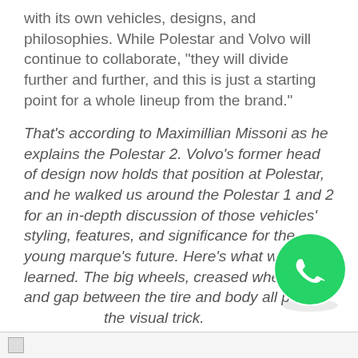with its own vehicles, designs, and philosophies. While Polestar and Volvo will continue to collaborate, “they will divide further and further, and this is just a starting point for a whole lineup from the brand.”
That’s according to Maximillian Missoni as he explains the Polestar 2. Volvo’s former head of design now holds that position at Polestar, and he walked us around the Polestar 1 and 2 for an in-depth discussion of those vehicles’ styling, features, and significance for the young marque’s future. Here’s what we learned. The big wheels, creased wheelarch liner, and gap between the tire and body all play the visual trick.
[Figure (logo): WhatsApp green phone icon logo]
[Figure (photo): Broken/missing image placeholder at bottom of page]